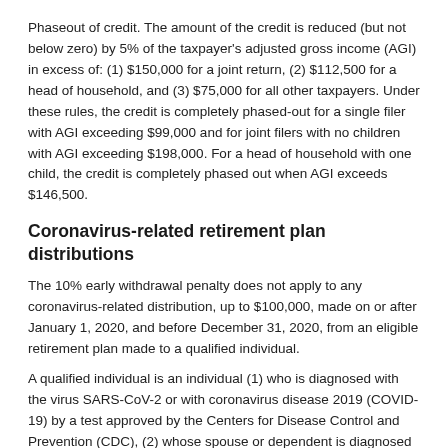Phaseout of credit. The amount of the credit is reduced (but not below zero) by 5% of the taxpayer's adjusted gross income (AGI) in excess of: (1) $150,000 for a joint return, (2) $112,500 for a head of household, and (3) $75,000 for all other taxpayers. Under these rules, the credit is completely phased-out for a single filer with AGI exceeding $99,000 and for joint filers with no children with AGI exceeding $198,000. For a head of household with one child, the credit is completely phased out when AGI exceeds $146,500.
Coronavirus-related retirement plan distributions
The 10% early withdrawal penalty does not apply to any coronavirus-related distribution, up to $100,000, made on or after January 1, 2020, and before December 31, 2020, from an eligible retirement plan made to a qualified individual.
A qualified individual is an individual (1) who is diagnosed with the virus SARS-CoV-2 or with coronavirus disease 2019 (COVID-19) by a test approved by the Centers for Disease Control and Prevention (CDC), (2) whose spouse or dependent is diagnosed with such virus or disease by such a test, or (3) who experiences adverse financial consequences as a result of being quarantined, being furloughed or laid off or having work hours re-duced due to such virus or disease, being unable to work due to lack of child care due to such virus or disease, closing or reducing hours of a business owned or operated by the individual due to such virus or disease, or other factors as determined by the Secretary of the Treasury.
In addition, the Secretary of...